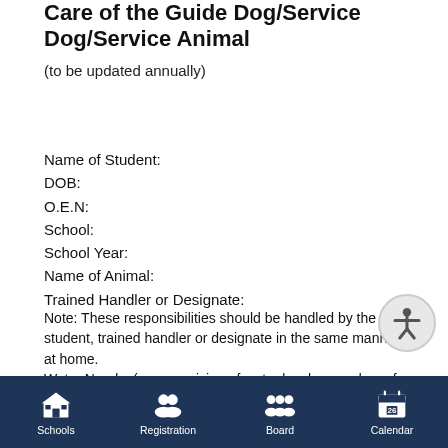Care of the Guide Dog/Service Dog/Service Animal
(to be updated annually)
Name of Student:
DOB:
O.E.N:
School:
School Year:
Name of Animal:
Trained Handler or Designate:
Note: These responsibilities should be handled by the student, trained handler or designate in the same manner as at home.
Water Needs: (e.g., provision of water bowl, procedures for use, cleaning, etc.)
Bladder/Bowel Needs of Animal: (e.g., frequency, location, disposal, etc.)
Schools   Registration   Board   Calendar